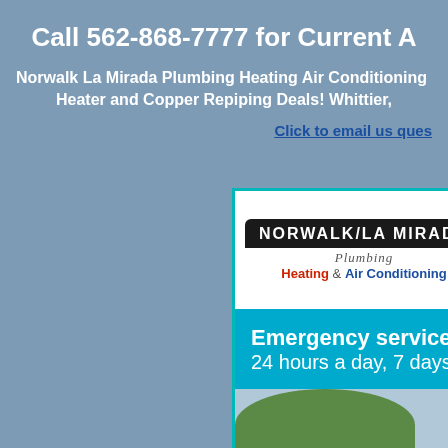Call 562-868-7777 for Current A
Norwalk La Mirada Plumbing Heating Air Conditioning - Heater and Copper Repiping Deals! Whittier,
Click to email us quest
[Figure (screenshot): Norwalk/La Mirada Plumbing Heating & Air Conditioning company banner/website screenshot showing company logo, tagline about knowledgeable technicians, emergency service available 24 hours a day 7 days a week, and a photo of trees and building exterior.]